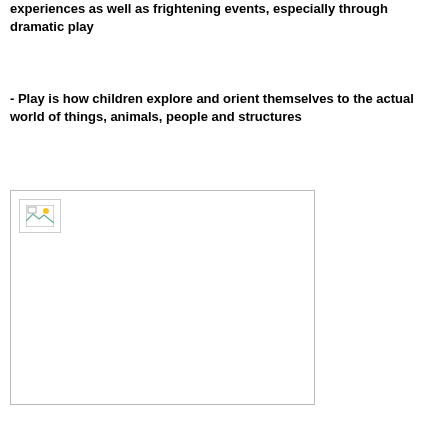experiences as well as frightening events, especially through dramatic play
- Play is how children explore and orient themselves to the actual world of things, animals, people and structures
[Figure (photo): A placeholder image box with a broken image icon in the top-left corner, surrounded by a light gray border.]